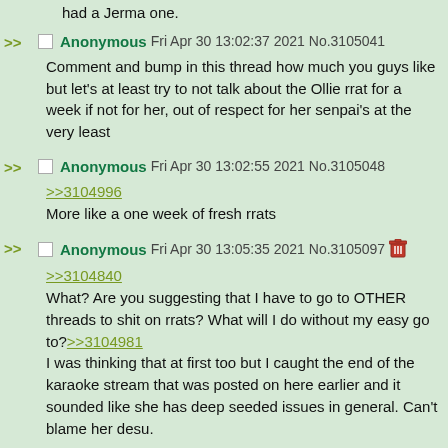had a Jerma one.
Anonymous Fri Apr 30 13:02:37 2021 No.3105041
Comment and bump in this thread how much you guys like but let's at least try to not talk about the Ollie rrat for a week if not for her, out of respect for her senpai's at the very least
Anonymous Fri Apr 30 13:02:55 2021 No.3105048
>>3104996
More like a one week of fresh rrats
Anonymous Fri Apr 30 13:05:35 2021 No.3105097
>>3104840
What? Are you suggesting that I have to go to OTHER threads to shit on rrats? What will I do without my easy go to?>>3104981
I was thinking that at first too but I caught the end of the karaoke stream that was posted on here earlier and it sounded like she has deep seeded issues in general. Can't blame her desu.